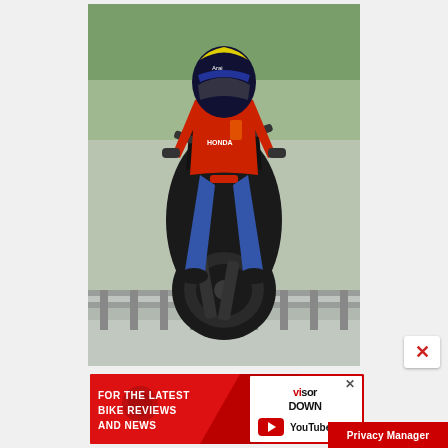[Figure (photo): A motorcyclist performing a wheelie on a dark sport motorcycle, seen from behind. The rider wears a yellow/blue Arai helmet, red/white leather jacket, jeans, and boots. Road with metal barriers and green trees in the background.]
[Figure (infographic): Advertisement banner: red background with white bold text 'FOR THE LATEST BIKE REVIEWS AND NEWS', Visordown logo in black and white on right side, YouTube play button icon with 'YouTube' text, and diagonal design elements.]
Privacy Manager